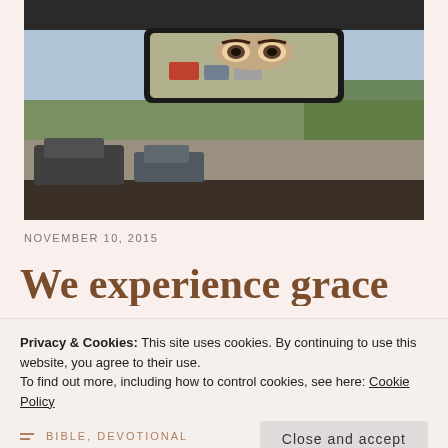[Figure (photo): A photograph viewed from inside a car showing a rearview mirror reflecting a person's eyes and the street scene behind, with trees and parked vehicles visible through the windshield.]
NOVEMBER 10, 2015
We experience grace
Privacy & Cookies: This site uses cookies. By continuing to use this website, you agree to their use.
To find out more, including how to control cookies, see here: Cookie Policy
Close and accept
BIBLE, DEVOTIONAL